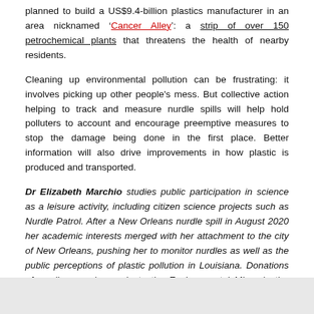planned to build a US$9.4-billion plastics manufacturer in an area nicknamed 'Cancer Alley': a strip of over 150 petrochemical plants that threatens the health of nearby residents.
Cleaning up environmental pollution can be frustrating: it involves picking up other people's mess. But collective action helping to track and measure nurdle spills will help hold polluters to account and encourage preemptive measures to stop the damage being done in the first place. Better information will also drive improvements in how plastic is produced and transported.
Dr Elizabeth Marchio studies public participation in science as a leisure activity, including citizen science projects such as Nurdle Patrol. After a New Orleans nurdle spill in August 2020 her academic interests merged with her attachment to the city of New Orleans, pushing her to monitor nurdles as well as the public perceptions of plastic pollution in Louisiana. Donations of nurdles can be made to the Environmental Microplastics Collection by contacting Dr Liz at microplasticmuseum@gmail.com.
Dr Marchio declared no conflicts of interest in relation to this article.
Originally published under Creative Commons by 360info™.
[Figure (other): Gray box area at the bottom of the page, partially visible content below]